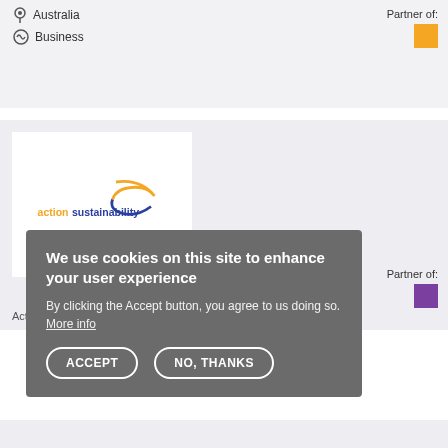Australia
Business
Partner of:
[Figure (logo): Action Sustainability logo with orange and blue swoosh graphic and text 'actionsustainability']
Action Sustainability
Partner of:
We use cookies on this site to enhance your user experience
By clicking the Accept button, you agree to us doing so. More info
ACCEPT
NO, THANKS